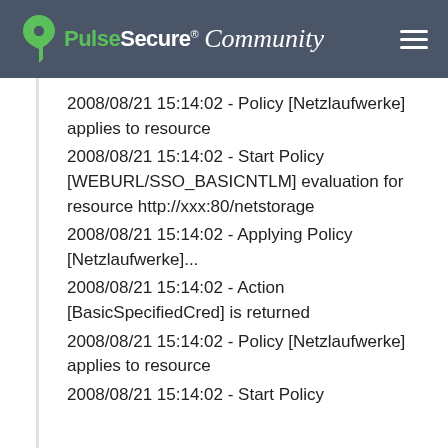Pulse Secure Community
2008/08/21 15:14:02 - Policy [Netzlaufwerke] applies to resource
2008/08/21 15:14:02 - Start Policy [WEBURL/SSO_BASICNTLM] evaluation for resource http://xxx:80/netstorage
2008/08/21 15:14:02 - Applying Policy [Netzlaufwerke]...
2008/08/21 15:14:02 - Action [BasicSpecifiedCred] is returned
2008/08/21 15:14:02 - Policy [Netzlaufwerke] applies to resource
2008/08/21 15:14:02 - Start Policy